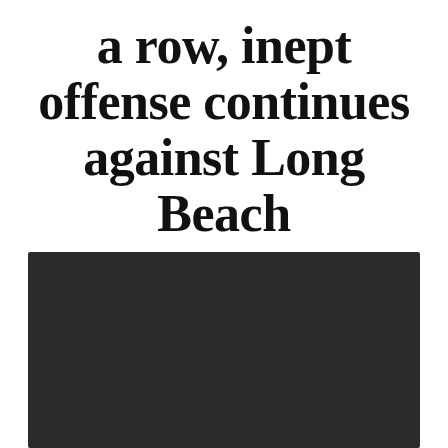a row, inept offense continues against Long Beach
Home / Sports /
March sadness: baseball drops 11 in a row, inept offense continues against Long Beach
[Figure (photo): Dark/black rectangular photo placeholder at the bottom of the page]